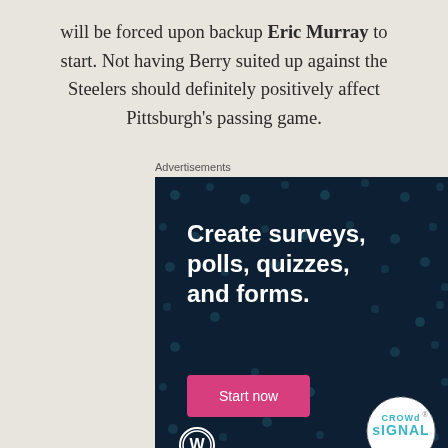will be forced upon backup Eric Murray to start. Not having Berry suited up against the Steelers should definitely positively affect Pittsburgh's passing game.
[Figure (other): Crowdsignal advertisement banner with dark navy background and teal dot pattern. Text reads 'Create surveys, polls, quizzes, and forms.' with a pink 'Start now' button, WordPress logo bottom-left, and Crowdsignal logo bottom-right.]